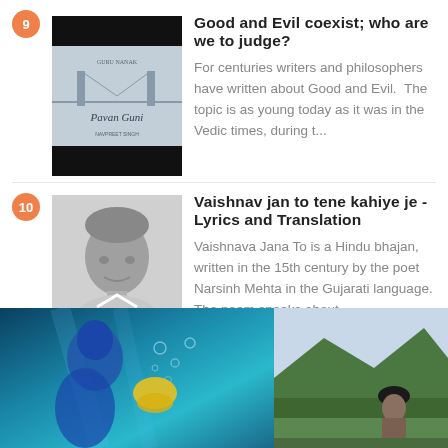9 — Good and Evil coexist; who are we to judge? — For centuries writers and philosophers have written about Good and Evil. The topic is as young today as it was in the Vedic times, during t...
10 — Vaishnav jan to tene kahiye je - Lyrics and Translation — Vaishnava Jana To is a Hindu bhajan, written in the 15th century by the poet Narsinh Mehta in the Gujarati language. The poem speaks about ...
[Figure (photo): Blue underwater scene with a figure in yellow glove or hand]
[Figure (photo): Man with turban in a mountain forest landscape]